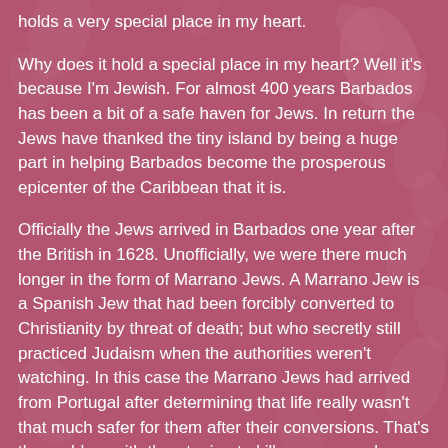holds a very special place in my heart.
Why does it hold a special place in my heart? Well it's because I'm Jewish. For almost 400 years Barbados has been a bit of a safe haven for Jews. In return the Jews have thanked the tiny island by being a huge part in helping Barbados become the prosperous epicenter of the Caribbean that it is.
Officially the Jews arrived in Barbados one year after the British in 1628. Unofficially, we were there much longer in the form of Marrano Jews. A Marrano Jew is a Spanish Jew that had been forcibly converted to Christianity by threat of death; but who secretly still practiced Judaism when the authorities weren't watching. In this case the Marrano Jews had arrived from Portugal after determining that life really wasn't that much safer for them after their conversions. That's the problem with threatening to kill someone unless they do what you want. The authorities knew the Jews had only converted because they didn't want to die and not because they believed in the Church. So off to Barbados the Marrano Jews went.